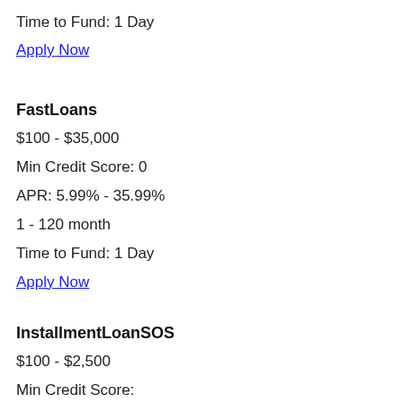Time to Fund: 1 Day
Apply Now
FastLoans
$100 - $35,000
Min Credit Score: 0
APR: 5.99% - 35.99%
1 - 120 month
Time to Fund: 1 Day
Apply Now
InstallmentLoanSOS
$100 - $2,500
Min Credit Score: